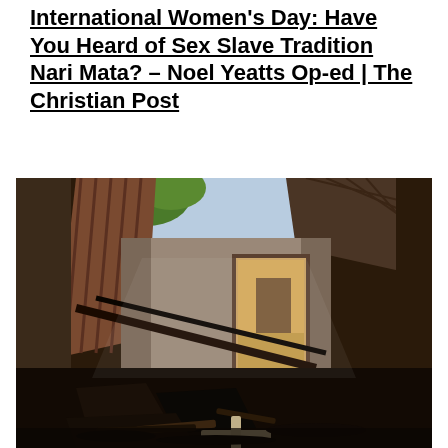International Women's Day: Have You Heard of Sex Slave Tradition Nari Mata? – Noel Yeatts Op-ed | The Christian Post
[Figure (photo): Interior of a burned and destroyed building. The roof is partially collapsed showing daylight and a green tree outside. Walls are scorched and the floor is covered with charred debris, burned wood, and ash. A doorway is visible in the background leading outside to another structure.]